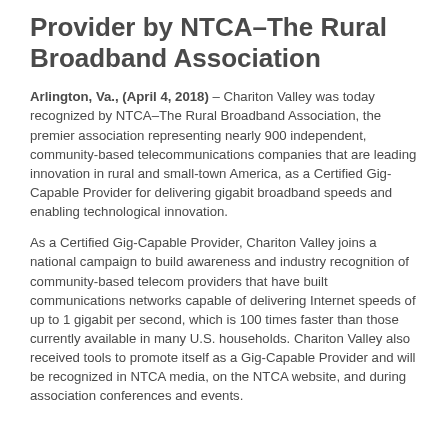Provider by NTCA–The Rural Broadband Association
Arlington, Va., (April 4, 2018) – Chariton Valley was today recognized by NTCA–The Rural Broadband Association, the premier association representing nearly 900 independent, community-based telecommunications companies that are leading innovation in rural and small-town America, as a Certified Gig-Capable Provider for delivering gigabit broadband speeds and enabling technological innovation.
As a Certified Gig-Capable Provider, Chariton Valley joins a national campaign to build awareness and industry recognition of community-based telecom providers that have built communications networks capable of delivering Internet speeds of up to 1 gigabit per second, which is 100 times faster than those currently available in many U.S. households. Chariton Valley also received tools to promote itself as a Gig-Capable Provider and will be recognized in NTCA media, on the NTCA website, and during association conferences and events.